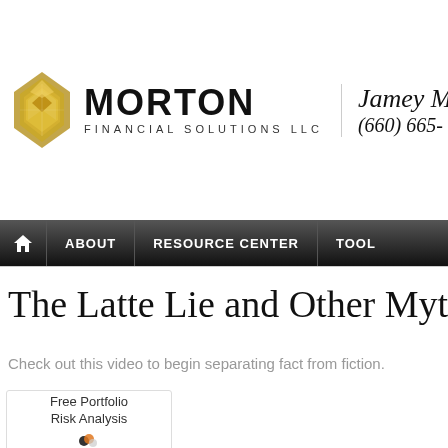[Figure (logo): Morton Financial Solutions LLC logo with geometric diamond/chevron shape in gold and the company name in bold black text. Contact info shows Jamey [name] and phone (660) 665-[number].]
[Figure (screenshot): Navigation bar with home icon, ABOUT, RESOURCE CENTER, TOOL items on dark gradient background.]
The Latte Lie and Other Myth
Check out this video to begin separating fact from fiction.
Free Portfolio Risk Analysis